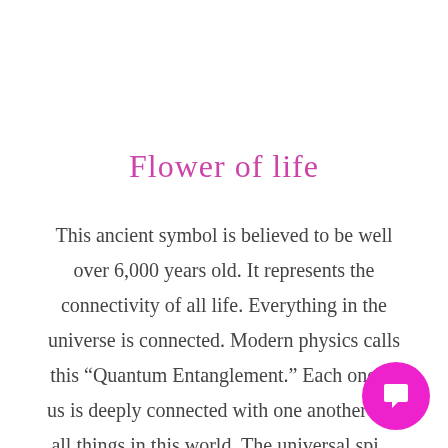Flower of life
This ancient symbol is believed to be well over 6,000 years old. It represents the connectivity of all life. Everything in the universe is connected. Modern physics calls this “Quantum Entanglement.” Each one of us is deeply connected with one another and all things in this world. The universal spi... omnisciently pervades everything with...